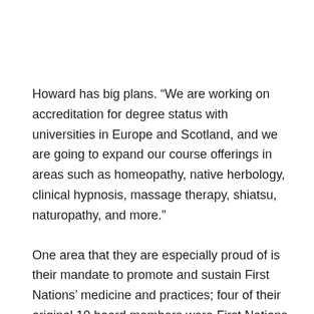Howard has big plans. “We are working on accreditation for degree status with universities in Europe and Scotland, and we are going to expand our course offerings in areas such as homeopathy, native herbology, clinical hypnosis, massage therapy, shiatsu, naturopathy, and more.”
One area that they are especially proud of is their mandate to promote and sustain First Nations’ medicine and practices; four of their original 10 board members were First Nations members.
Starting with three students in 2007, the college now has 80 students from around the world including the United Stat...